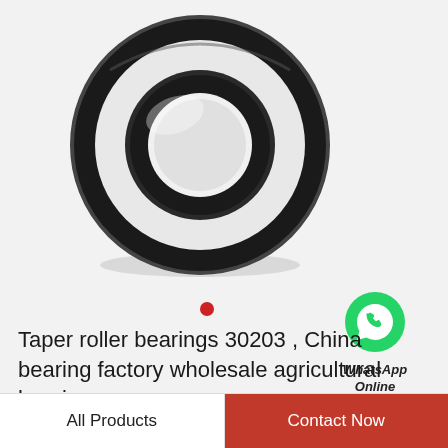[Figure (photo): A taper roller bearing 30203 viewed from the front, showing concentric black outer ring, white/ceramic middle race, and dark inner ring with central hole, on a light grey background.]
[Figure (logo): WhatsApp green chat bubble logo icon with phone handset inside, followed by text 'WhatsApp Online' in italic bold.]
Taper roller bearings 30203 , China bearing factory wholesale agricultural bearing
All Products
Contact Now